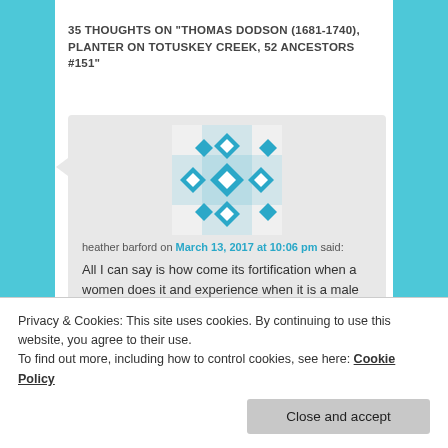35 THOUGHTS ON "THOMAS DODSON (1681-1740), PLANTER ON TOTUSKEY CREEK, 52 ANCESTORS #151"
[Figure (illustration): Blue and white geometric cross/diamond pattern avatar icon for user heather barford]
heather barford on March 13, 2017 at 10:06 pm said:
All I can say is how come its fortification when a women does it and experience when it is a male who is obviously encouraged nod/wink and the female gets ostracized and then wants to end up
Privacy & Cookies: This site uses cookies. By continuing to use this website, you agree to their use.
To find out more, including how to control cookies, see here: Cookie Policy
Close and accept